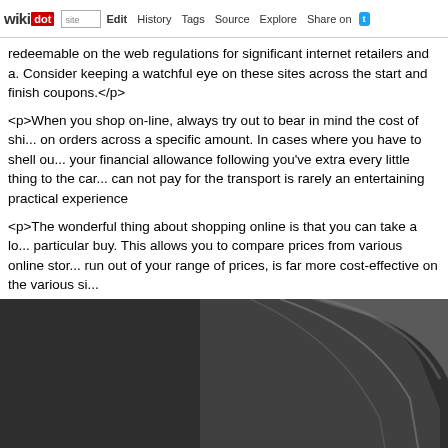wikidot | site | Edit | History | Tags | Source | Explore | Share on [twitter]
redeemable on the web regulations for significant internet retailers and a. Consider keeping a watchful eye on these sites across the start and finish coupons.</p>
<p>When you shop on-line, always try out to bear in mind the cost of shi... on orders across a specific amount. In cases where you have to shell ou... your financial allowance following you've extra every little thing to the car... can not pay for the transport is rarely an entertaining practical experience
<p>The wonderful thing about shopping online is that you can take a lo... particular buy. This allows you to compare prices from various online stor... run out of your range of prices, is far more cost-effective on the various si...
[Figure (photo): Close-up photo of dark grey/black device showing curved edges and a white arrow or chevron symbol in the bottom right corner. Appears to be an electronic device.]